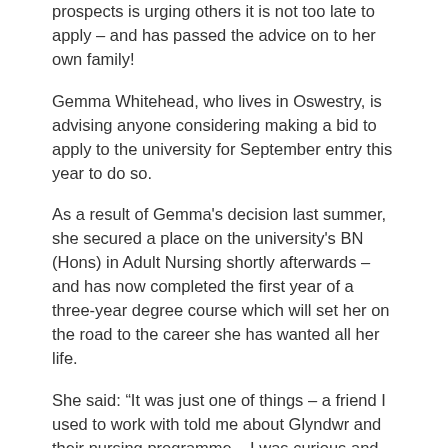prospects is urging others it is not too late to apply – and has passed the advice on to her own family!
Gemma Whitehead, who lives in Oswestry, is advising anyone considering making a bid to apply to the university for September entry this year to do so.
As a result of Gemma's decision last summer, she secured a place on the university's BN (Hons) in Adult Nursing shortly afterwards – and has now completed the first year of a three-year degree course which will set her on the road to the career she has wanted all her life.
She said: “It was just one of things – a friend I used to work with told me about Glyndwr and their nursing programme – I was curious and had a look at the website – and here I am.
“I didn't think I would stand a chance applying – this was August – but put my application in anyway. I then got a phone call, asking me to come in for a face-to-face interview – and shortly after that interview, I heard I'd